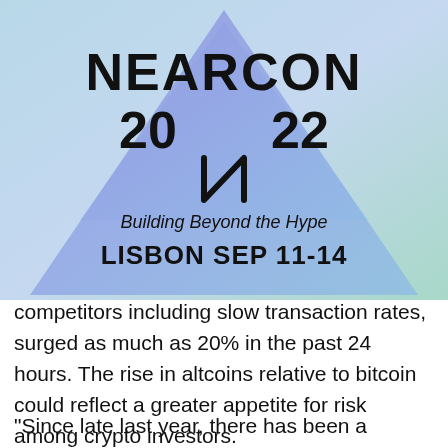[Figure (logo): NEARCON 2022 event banner with triangular gradient background in light blue and purple tones. Text reads: NEARCON / 20   22 / with NEAR protocol logo (stylized N) / Building Beyond the Hype / LISBON  SEP 11-14]
competitors including slow transaction rates, surged as much as 20% in the past 24 hours. The rise in altcoins relative to bitcoin could reflect a greater appetite for risk among crypto investors.
"Since late last year, there has been a continuing trend that even bitcoin's